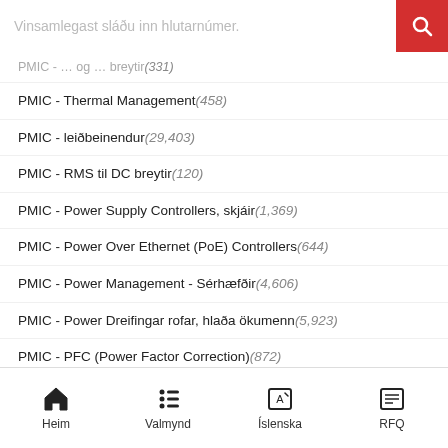Vinsamlegast sláðu inn hlutarnúmer.
PMIC - ... og ... breytir(331)
PMIC - Thermal Management(458)
PMIC - leiðbeinendur(29,403)
PMIC - RMS til DC breytir(120)
PMIC - Power Supply Controllers, skjáir(1,369)
PMIC - Power Over Ethernet (PoE) Controllers(644)
PMIC - Power Management - Sérhæfðir(4,606)
PMIC - Power Dreifingar rofar, hlaða ökumenn(5,923)
PMIC - PFC (Power Factor Correction)(872)
PMIC - EÐA Stýringar, Tilvalin díóða(450)
PMIC - Motor Drivers, Controllers(3,317)
PMIC - Ljósahönnuður, Ballast Controllers(414)
PMIC - LED bílstjóri(5,253)
PMIC - leysir bílstjóri(394)
Heim  Valmynd  Íslenska  RFQ